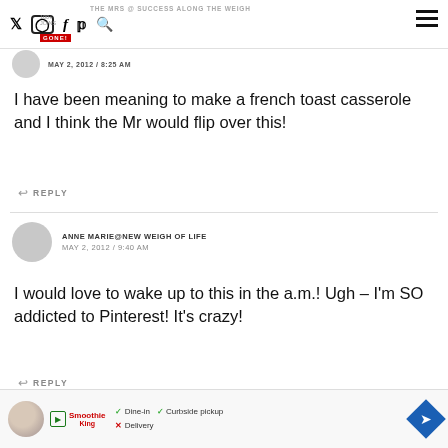Social icons: Twitter, Instagram, Facebook, Pinterest, Search | THE MRS @ SUCCESS ALONG THE WEIGH | Hamburger menu
MAY 2, 2012 / 8:25 AM
I have been meaning to make a french toast casserole and I think the Mr would flip over this!
REPLY
ANNE MARIE@NEW WEIGH OF LIFE
MAY 2, 2012 / 9:40 AM
I would love to wake up to this in the a.m.! Ugh – I'm SO addicted to Pinterest! It's crazy!
REPLY
[Figure (infographic): Advertisement banner with avatar, Smoothie King logo, dine-in/curbside pickup/delivery options, and navigation icon]